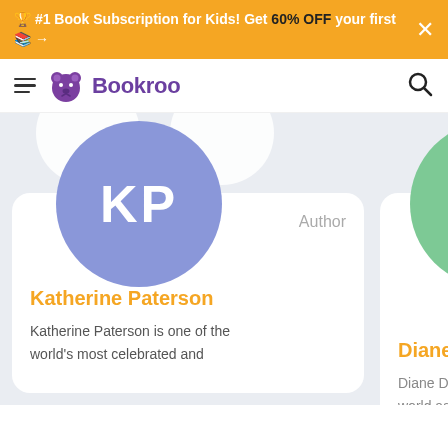🏆 #1 Book Subscription for Kids! Get 60% OFF your first 📚→
[Figure (logo): Bookroo logo with purple bear icon and brand name]
Author
Katherine Paterson
Katherine Paterson is one of the world's most celebrated and
Diane D
Diane Di world as